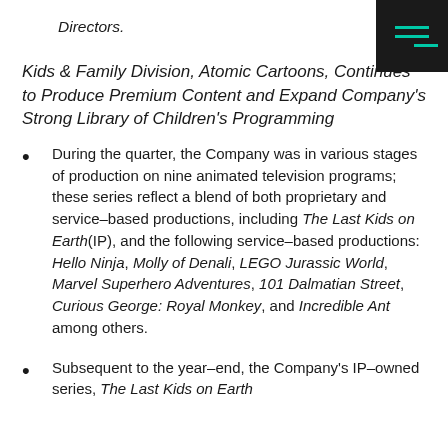Directors.
Kids & Family Division, Atomic Cartoons, Continues to Produce Premium Content and Expand Company's Strong Library of Children's Programming
During the quarter, the Company was in various stages of production on nine animated television programs; these series reflect a blend of both proprietary and service–based productions, including The Last Kids on Earth(IP), and the following service–based productions: Hello Ninja, Molly of Denali, LEGO Jurassic World, Marvel Superhero Adventures, 101 Dalmatian Street, Curious George: Royal Monkey, and Incredible Ant among others.
Subsequent to the year–end, the Company's IP–owned series, The Last Kids on Earth